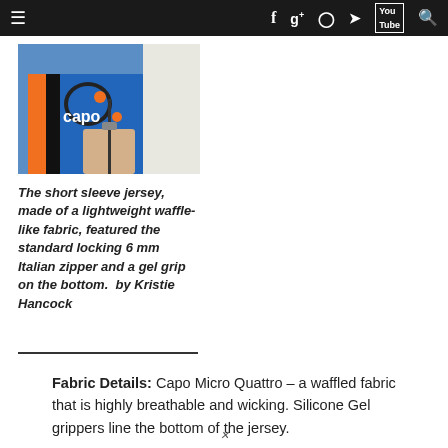≡  f  g+  ◉  🐦  You Tube  🔍
[Figure (photo): Person wearing a blue Capo cycling jersey, close-up on the zipper area]
The short sleeve jersey, made of a lightweight waffle-like fabric, featured the standard locking 6 mm Italian zipper and a gel grip on the bottom. by Kristie Hancock
Fabric Details: Capo Micro Quattro – a waffled fabric that is highly breathable and wicking. Silicone Gel grippers line the bottom of the jersey.